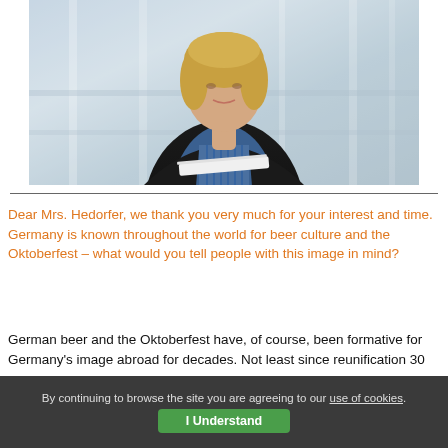[Figure (photo): Professional woman with blonde hair wearing a black blazer over a blue striped top, standing in a modern glass-windowed building interior, holding documents]
Dear Mrs. Hedorfer, we thank you very much for your interest and time. Germany is known throughout the world for beer culture and the Oktoberfest – what would you tell people with this image in mind?
German beer and the Oktoberfest have, of course, been formative for Germany's image abroad for decades. Not least since reunification 30 years ago, the image of Germany as a travel destination with its creative
By continuing to browse the site you are agreeing to our use of cookies.  I Understand